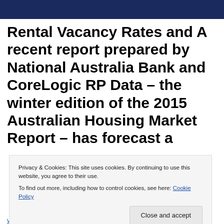[Figure (photo): Dark navy blue header banner image]
Rental Vacancy Rates and A recent report prepared by National Australia Bank and CoreLogic RP Data – the winter edition of the 2015 Australian Housing Market Report – has forecast a
Privacy & Cookies: This site uses cookies. By continuing to use this website, you agree to their use.
To find out more, including how to control cookies, see here: Cookie Policy
Close and accept
via ljgrealestate